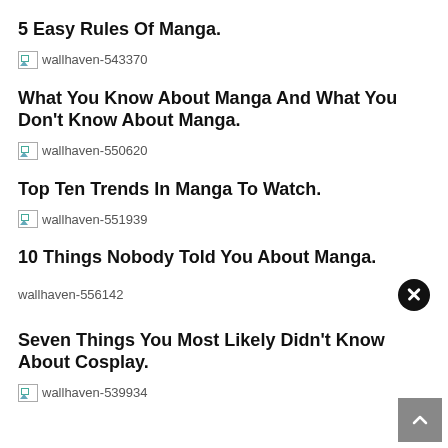5 Easy Rules Of Manga.
[Figure (illustration): Broken image placeholder labeled wallhaven-543370]
What You Know About Manga And What You Don't Know About Manga.
[Figure (illustration): Broken image placeholder labeled wallhaven-550620]
Top Ten Trends In Manga To Watch.
[Figure (illustration): Broken image placeholder labeled wallhaven-551939]
10 Things Nobody Told You About Manga.
[Figure (illustration): Broken image placeholder labeled wallhaven-556142]
Seven Things You Most Likely Didn't Know About Cosplay.
[Figure (illustration): Broken image placeholder labeled wallhaven-539934]